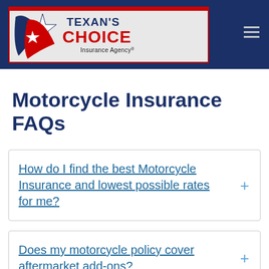[Figure (logo): Texan's Choice Insurance Agency logo with Texas star and flag design]
Motorcycle Insurance FAQs
How do I find the best Motorcycle Insurance and lowest possible rates for me?
Does my motorcycle policy cover aftermarket add-ons?